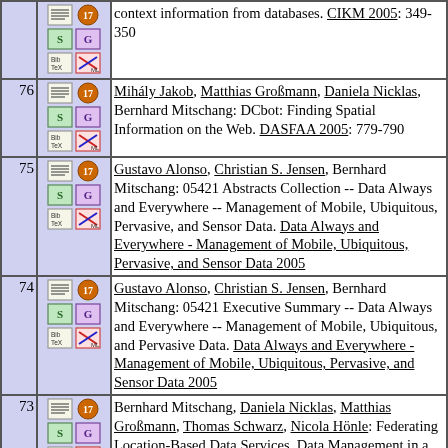| # | Icons | Reference |
| --- | --- | --- |
|  |  | context information from databases. CIKM 2005: 349-350 |
| 76 |  | Mihály Jakob, Matthias Großmann, Daniela Nicklas, Bernhard Mitschang: DCbot: Finding Spatial Information on the Web. DASFAA 2005: 779-790 |
| 75 |  | Gustavo Alonso, Christian S. Jensen, Bernhard Mitschang: 05421 Abstracts Collection -- Data Always and Everywhere -- Management of Mobile, Ubiquitous, Pervasive, and Sensor Data. Data Always and Everywhere - Management of Mobile, Ubiquitous, Pervasive, and Sensor Data 2005 |
| 74 |  | Gustavo Alonso, Christian S. Jensen, Bernhard Mitschang: 05421 Executive Summary -- Data Always and Everywhere -- Management of Mobile, Ubiquitous, and Pervasive Data. Data Always and Everywhere - Management of Mobile, Ubiquitous, Pervasive, and Sensor Data 2005 |
| 73 |  | Bernhard Mitschang, Daniela Nicklas, Matthias Großmann, Thomas Schwarz, Nicola Hönle: Federating Location-Based Data Services. Data Management in a Connected World 2005: 17-35 |
| 72 |  | Bernhard Mitschang, Daniela Nicklas: Herausforderungen und Ansätze für Kontextmodelle. |